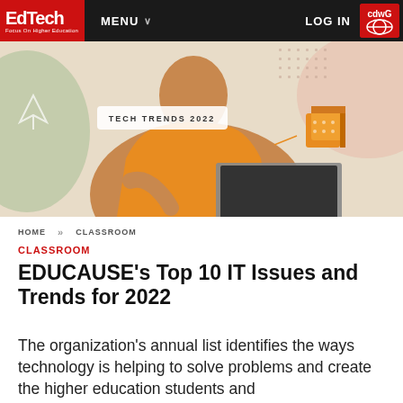EdTech Focus On Higher Education | MENU | LOG IN | CDWG
[Figure (photo): Hero banner image showing a young man in an orange sweater working on a laptop, with decorative graphic elements including a 3D orange cube, pen nib illustration, and abstract shapes. A white bubble label reads TECH TRENDS 2022.]
HOME >> CLASSROOM
CLASSROOM
EDUCAUSE's Top 10 IT Issues and Trends for 2022
The organization's annual list identifies the ways technology is helping to solve problems and create the higher education students and